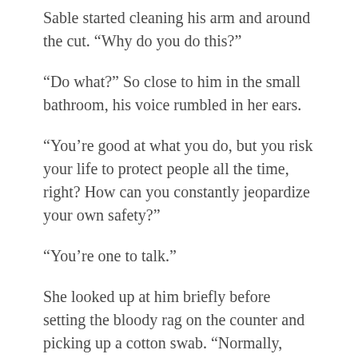Sable started cleaning his arm and around the cut. “Why do you do this?”
“Do what?” So close to him in the small bathroom, his voice rumbled in her ears.
“You’re good at what you do, but you risk your life to protect people all the time, right? How can you constantly jeopardize your own safety?”
“You’re one to talk.”
She looked up at him briefly before setting the bloody rag on the counter and picking up a cotton swab. “Normally, being a thief isn’t so dangerous.”